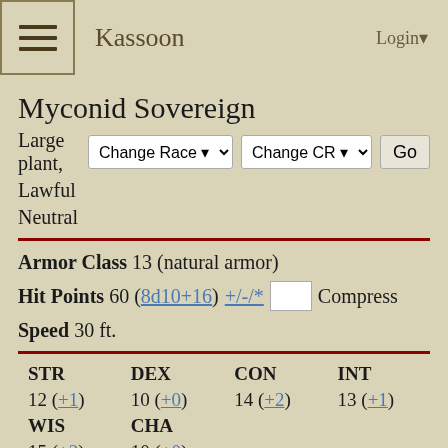Kassoon   Login▼
Myconid Sovereign
Large plant, Change Race ▼  Change CR ▼  Go
Lawful
Neutral
Armor Class 13 (natural armor)
Hit Points 60 (8d10+16) +/-/* □ Compress
Speed 30 ft.
| STR | DEX | CON | INT |
| --- | --- | --- | --- |
| 12 (+1) | 10 (+0) | 14 (+2) | 13 (+1) |
| WIS | CHA |  |  |
| 15 (+2) | 10 (+0) |  |  |
Senses darkvision 120 ft., passive Perception 12